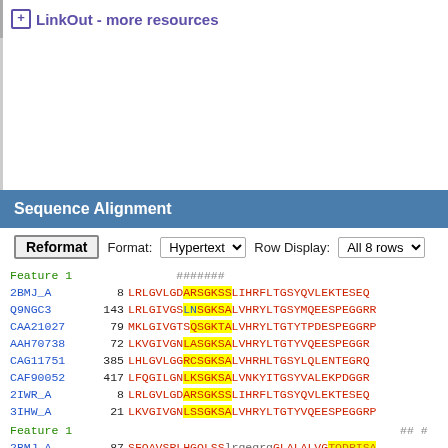LinkOut - more resources
Sequence Alignment
Reformat  Format: Hypertext  Row Display: All 8 rows
Feature 1  #######
2BMJ_A  8  LRLGVLGDARSGKSSLIHRFLTGSYQVLEKTESEQ
Q9NGC3  143  LRLGIVGSLNSGKSALVHRYLTGSYMQEESPEGGRR
CAA21027  79  MKLGIVGTSQSGKTALVHRYLTGTYTPDESPEGGRF
AAH70738  72  LKVGIVGNLASGKSALVHRYLTGTYVQEESPEGGR
CAG11751  385  LHLGVLGGRCSGKSALVHRHLTGSYLQLENTEGRQ
CAF90052  417  LFQGILGNLKSGKSALVNKYITGSYVALEKPDGGR
2IWR_A  8  LRLGVLGDARSGKSSLIHRFLTGSYQVLEKTESEQ
3IHW_A  21  LKVGIVGNLSSGKSALVHRYLTGTYVQEESPEGGR
Feature 1  ## #
2BMJ_A  87  SFQAVSRLHGQLSSlrgegrgGLALALVGTQDRISA
Q9NGC3  222  SFNTVYNYYTKMAHfrn--ggEIPMILVGTQDAISP